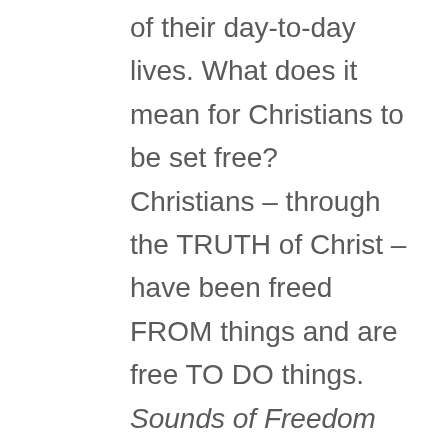of their day-to-day lives. What does it mean for Christians to be set free? Christians – through the TRUTH of Christ – have been freed FROM things and are free TO DO things. Sounds of Freedom seeks to minister to Christians by helping them develop a deep understanding of their freedoms in Christ. In essence, helping us know what freedom really sounds like to those thirsting and hungering for deliverance. Those suffering with spiritual oppression can be freed through anointed music that delivers a powerful word to the struggling. Business men and women are freed from